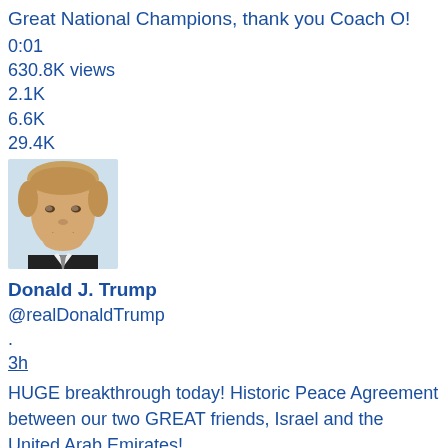Great National Champions, thank you Coach O!
0:01
630.8K views
2.1K
6.6K
29.4K
[Figure (photo): Profile photo of Donald J. Trump, head and shoulders, on light blue background]
Donald J. Trump
@realDonaldTrump
.
3h
HUGE breakthrough today! Historic Peace Agreement between our two GREAT friends, Israel and the United Arab Emirates!